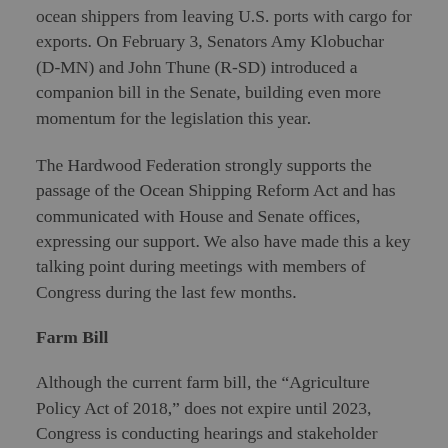ocean shippers from leaving U.S. ports with cargo for exports. On February 3, Senators Amy Klobuchar (D-MN) and John Thune (R-SD) introduced a companion bill in the Senate, building even more momentum for the legislation this year.
The Hardwood Federation strongly supports the passage of the Ocean Shipping Reform Act and has communicated with House and Senate offices, expressing our support. We also have made this a key talking point during meetings with members of Congress during the last few months.
Farm Bill
Although the current farm bill, the “Agriculture Policy Act of 2018,” does not expire until 2023, Congress is conducting hearings and stakeholder meetings in 2022.